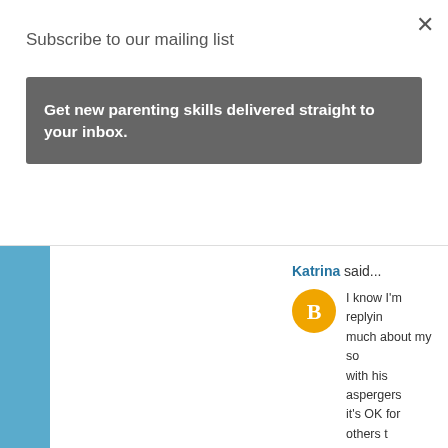×
Subscribe to our mailing list
Get new parenting skills delivered straight to your inbox.
Katrina said...
I know I'm replyin... much about my so... with his aspergers... it's OK for others t... teach him while he...
April 6, 2016 at 10...
Katrina said...
Can anyone help m... sword in regards to... open and honest is... to feel connected w... something that has... commented. What...